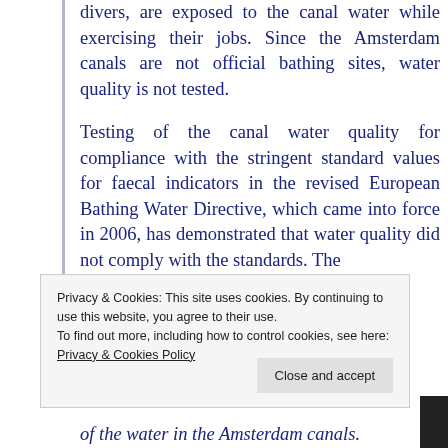divers, are exposed to the canal water while exercising their jobs. Since the Amsterdam canals are not official bathing sites, water quality is not tested.
Testing of the canal water quality for compliance with the stringent standard values for faecal indicators in the revised European Bathing Water Directive, which came into force in 2006, has demonstrated that water quality did not comply with the standards. The
Privacy & Cookies: This site uses cookies. By continuing to use this website, you agree to their use.
To find out more, including how to control cookies, see here: Privacy & Cookies Policy
of the water in the Amsterdam canals.